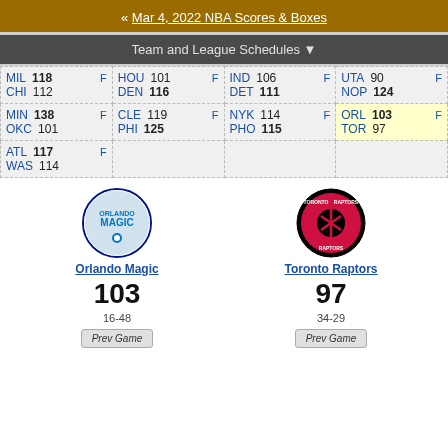« Mar 4, 2022 NBA Scores & Boxes
Team and League Schedules ▼
| MIL 118 F / CHI 112 | HOU 101 F / DEN 116 | IND 106 F / DET 111 | UTA 90 F / NOP 124 |
| MIN 138 F / OKC 101 | CLE 119 F / PHI 125 | NYK 114 F / PHO 115 | ORL 103 F / TOR 97 |
| ATL 117 F / WAS 114 |  |  |  |
[Figure (logo): Orlando Magic team logo]
Orlando Magic
103
16-48
[Figure (logo): Toronto Raptors team logo]
Toronto Raptors
97
34-29